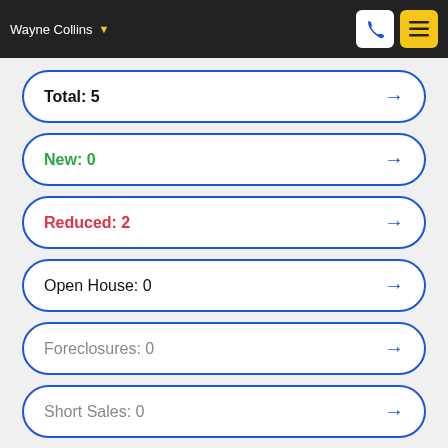Wayne Collins
Total: 5
New: 0
Reduced: 2
Open House: 0
Foreclosures: 0
Short Sales: 0